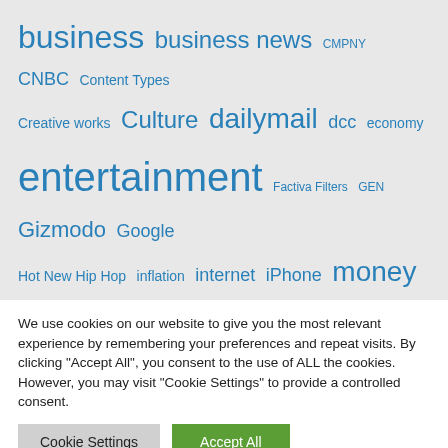[Figure (infographic): Tag cloud with various topics in blue text of different sizes including business, entertainment, news, personal finance, and others]
We use cookies on our website to give you the most relevant experience by remembering your preferences and repeat visits. By clicking "Accept All", you consent to the use of ALL the cookies. However, you may visit "Cookie Settings" to provide a controlled consent.